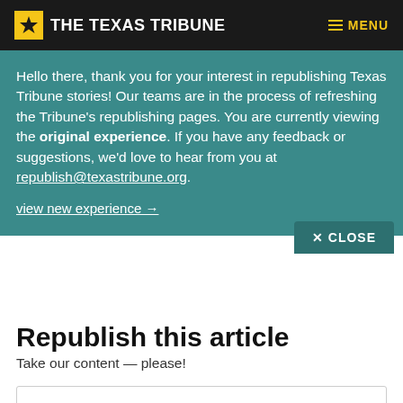THE TEXAS TRIBUNE
Hello there, thank you for your interest in republishing Texas Tribune stories! Our teams are in the process of refreshing the Tribune's republishing pages. You are currently viewing the original experience. If you have any feedback or suggestions, we'd love to hear from you at republish@texastribune.org.
view new experience →
Republish this article
Take our content — please!
Texas Gets Boost in New Mexico Water Fight